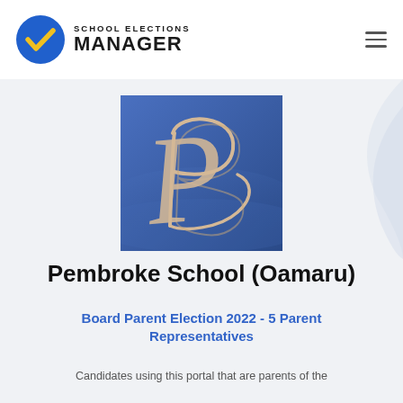[Figure (logo): School Elections Manager logo: blue circle with yellow checkmark, text 'SCHOOL ELECTIONS MANAGER' in bold dark uppercase]
[Figure (illustration): Pembroke School logo: blue square image with a decorative cursive letter P in cream/beige on a blue background]
Pembroke School (Oamaru)
Board Parent Election 2022 - 5 Parent Representatives
Candidates using this portal that are parents of the